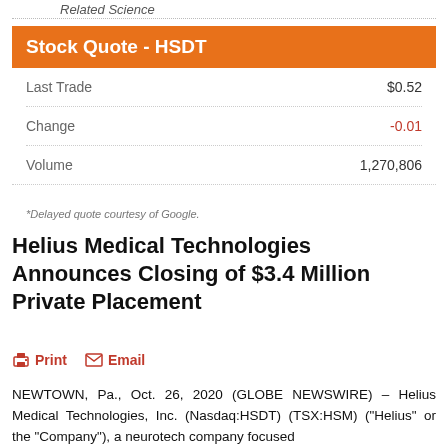Related Science
|  |  |
| --- | --- |
| Last Trade | $0.52 |
| Change | -0.01 |
| Volume | 1,270,806 |
*Delayed quote courtesy of Google.
Helius Medical Technologies Announces Closing of $3.4 Million Private Placement
Print  Email
NEWTOWN, Pa., Oct. 26, 2020 (GLOBE NEWSWIRE) – Helius Medical Technologies, Inc. (Nasdaq:HSDT) (TSX:HSM) ("Helius" or the "Company"), a neurotech company focused